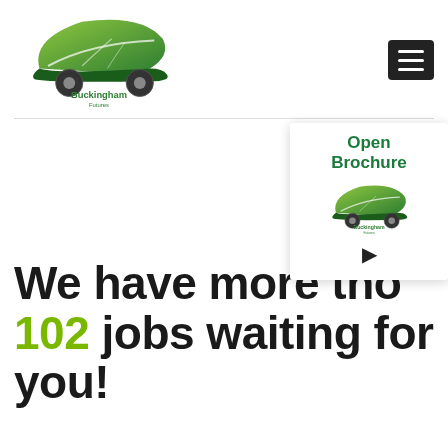[Figure (logo): Buckingham Futures logo: green leaf forming car shape with two wheels and text 'Buckingham Futures']
[Figure (other): Hamburger menu icon (three white lines on dark background)]
[Figure (other): Green 'Upload Yo...' button (truncated)]
Open Brochure
[Figure (logo): Small Buckingham Futures logo inside brochure panel]
We have more tho 102 jobs waiting for you!